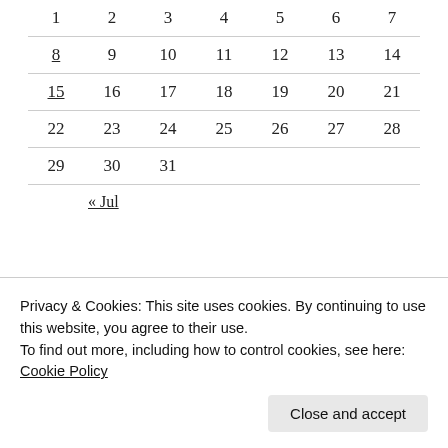| 1 | 2 | 3 | 4 | 5 | 6 | 7 |
| 8 | 9 | 10 | 11 | 12 | 13 | 14 |
| 15 | 16 | 17 | 18 | 19 | 20 | 21 |
| 22 | 23 | 24 | 25 | 26 | 27 | 28 |
| 29 | 30 | 31 |  |  |  |  |
« Jul
RECENT POSTS
Privacy & Cookies: This site uses cookies. By continuing to use this website, you agree to their use.
To find out more, including how to control cookies, see here: Cookie Policy
Close and accept